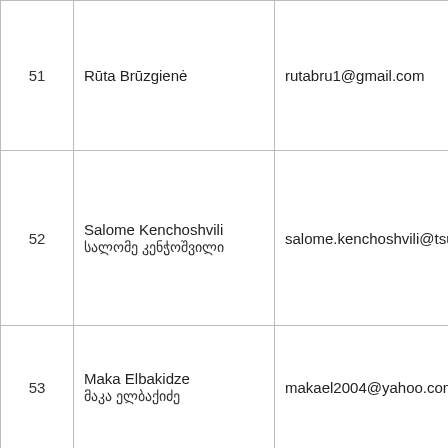| 51 | Rūta Brūzgienė | rutabru1@gmail.com |  |
| 52 | Salome Kenchoshvili
სალომე კენჭოშვილი | salome.kenchoshvili@tsu.ge |  |
| 53 | Maka Elbakidze
მაკა ელბაქიძე | makael2004@yahoo.com |  |